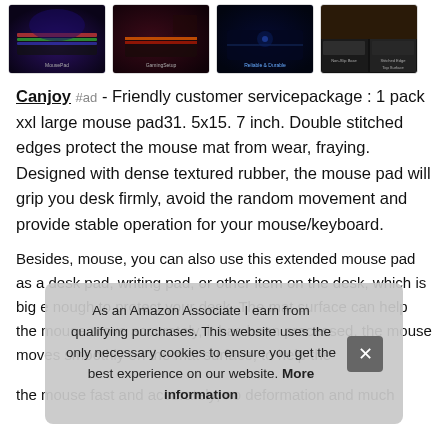[Figure (photo): Row of four product thumbnail images showing gaming/extended mouse pads with RGB keyboards on dark space-themed backgrounds]
Canjoy #ad - Friendly customer servicepackage : 1 pack xxl large mouse pad31. 5x15. 7 inch. Double stitched edges protect the mouse mat from wear, fraying. Designed with dense textured rubber, the mouse pad will grip you desk firmly, avoid the random movement and provide stable operation for your mouse/keyboard.
Besides, mouse, you can also use this extended mouse pad as a desk pad, writing pad, or other item on the desk, which is big enough to protect your desk. The mat surface can help the mouse move accurately, it has been processed, the mouse moves smoothly on the mat surface, to help the mouse fast and accurately; no deformation and much
As an Amazon Associate I earn from qualifying purchases. This website uses the only necessary cookies to ensure you get the best experience on our website. More information